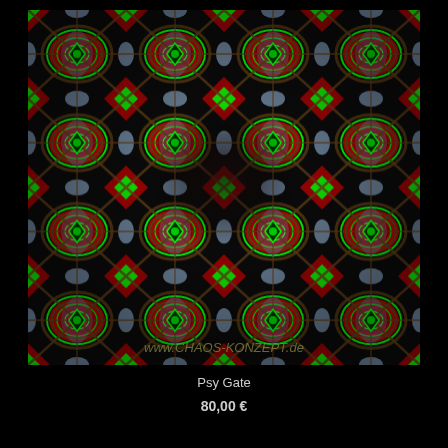[Figure (illustration): Psychedelic kaleidoscopic pattern with symmetrical designs in red, green, blue/light blue, and dark brown/black tones forming repeating mandala-like shapes. Website watermark 'www.CHAOS-KONZEPT.de' visible at bottom of image.]
Psy Gate
80,00 €